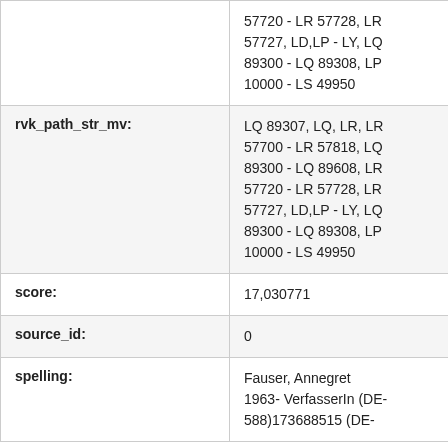| Field | Value |
| --- | --- |
|  | 57720 - LR 57728, LR 57727, LD,LP - LY, LQ 89300 - LQ 89308, LP 10000 - LS 49950 |
| rvk_path_str_mv: | LQ 89307, LQ, LR, LR 57700 - LR 57818, LQ 89300 - LQ 89608, LR 57720 - LR 57728, LR 57727, LD,LP - LY, LQ 89300 - LQ 89308, LP 10000 - LS 49950 |
| score: | 17,030771 |
| source_id: | 0 |
| spelling: | Fauser, Annegret 1963- VerfasserIn (DE-588)173688515 (DE- |
Simila
Wha... War ide... by: Ge... publish...
The... Americ... by: Ans... publish...
Orch... Persua... Preside... by: Ch... publish...